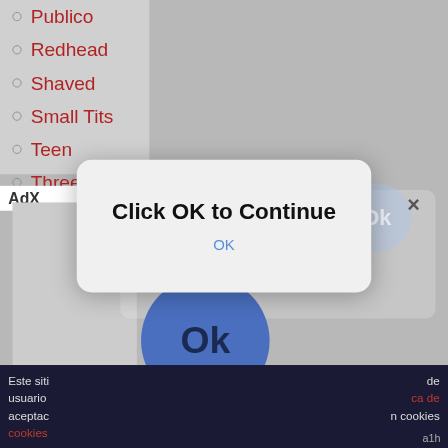Publico
Redhead
Shaved
Small Tits
Teen
Threesome
[Figure (screenshot): A browser popup dialog overlay on an adult website. The modal says 'Click OK to Continue' in bold black text, with subtext 'Kate sent you (5) pictures' and 'Click OK to display the photo.' and an OK button in blue text. Behind the modal is a blue circle button labeled 'Ok'. The background shows a list of category links in red and a dark footer bar with Spanish cookie consent text.]